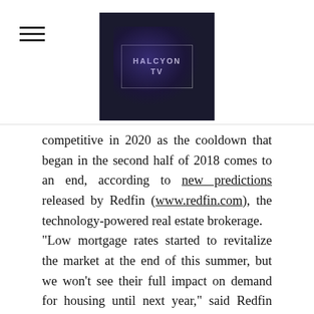HALCYON TV (logo)
competitive in 2020 as the cooldown that began in the second half of 2018 comes to an end, according to new predictions released by Redfin (www.redfin.com), the technology-powered real estate brokerage. "Low mortgage rates started to revitalize the market at the end of this summer, but we won't see their full impact on demand for housing until next year," said Redfin chief economist Daryl Fairweather, who authored the report. "In 2020, buyers will have fewer homes to choose from than they have in five years. But the return of bidding wars is good news for sellers who may have been holding out this year as the market stabilized. The competition and faster price growth will tempt more homeowners and builders to list homes, which will help improve the balance between